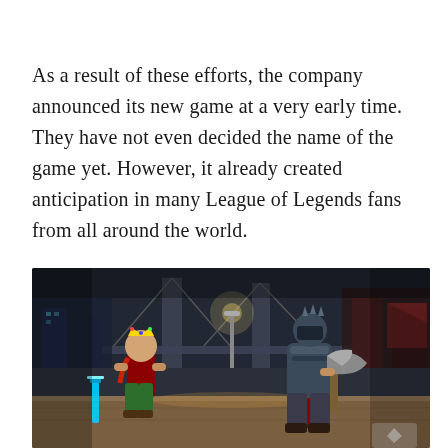As a result of these efforts, the company announced its new game at a very early time. They have not even decided the name of the game yet. However, it already created anticipation in many League of Legends fans from all around the world.
[Figure (illustration): A game screenshot showing two fighting game characters in a stylized urban environment with a bridge in the background at night. Left character wears a crown and holds a glowing blue sword. Right character in armored outfit with a cape holds a large axe.]